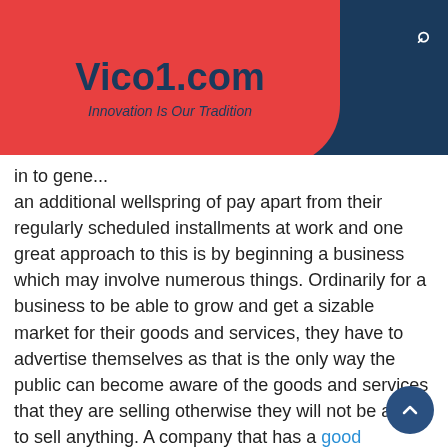Vico1.com — Innovation Is Our Tradition
in to gene... an additional wellspring of pay apart from their regularly scheduled installments at work and one great approach to this is by beginning a business which may involve numerous things. Ordinarily for a business to be able to grow and get a sizable market for their goods and services, they have to advertise themselves as that is the only way the public can become aware of the goods and services that they are selling otherwise they will not be able to sell anything. A company that has a good marketing strategy can become quite popular in a very short time and attract a great number of customers therefore if you have recently started a business, you ought to make sure that you have devised a great marketing strategy. There are different vital things that you can do to enhance the growth of your association and one exceptional method is by getting a growth marketing association to empower you to reach a good number of potential